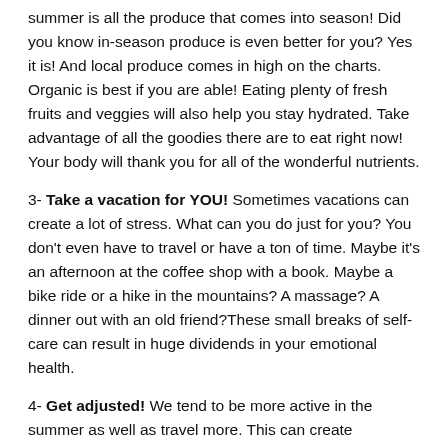summer is all the produce that comes into season!  Did you know in-season produce is even better for you?  Yes it is!  And local produce comes in high on the charts.  Organic is best if you are able!  Eating plenty of fresh fruits and veggies will also help you stay hydrated.  Take advantage of all the goodies there are to eat right now!  Your body will thank you for all of the wonderful nutrients.
3- Take a vacation for YOU!  Sometimes vacations can create a lot of stress.  What can you do just for you?  You don't even have to travel or have a ton of time. Maybe it's an afternoon at the coffee shop with a book.  Maybe a bike ride or a hike in the mountains?  A massage?  A dinner out with an old friend?These small breaks of self-care can result in huge dividends in your emotional health.
4- Get adjusted!  We tend to be more active in the summer as well as travel more.  This can create  disturbances in your nervous